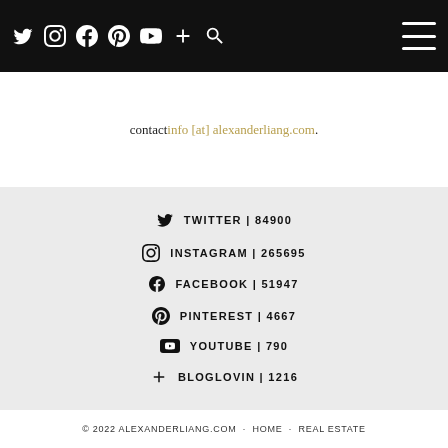Navigation bar with social icons and hamburger menu
For sponsorship and marketing opportunities, please contact info [at] alexanderliang.com.
TWITTER | 84900
INSTAGRAM | 265695
FACEBOOK | 51947
PINTEREST | 4667
YOUTUBE | 790
BLOGLOVIN | 1216
© 2022 ALEXANDERLIANG.COM · HOME · REAL ESTATE